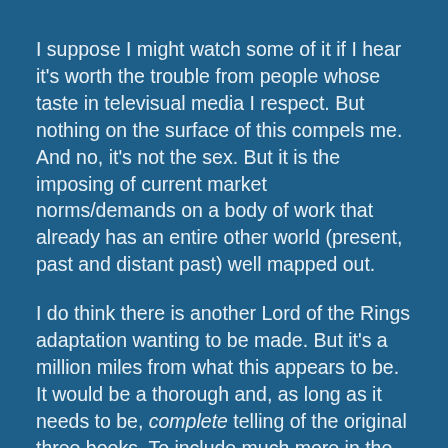I suppose I might watch some of it if I hear it's worth the trouble from people whose taste in televisual media I respect. But nothing on the surface of this compels me. And no, it's not the sex. But it is the imposing of current market norms/demands on a body of work that already has an entire other world (present, past and distant past) well mapped out.
I do think there is another Lord of the Rings adaptation wanting to be made. But it's a million miles from what this appears to be. It would be a thorough and, as long as it needs to be, complete telling of the original three books. To include much more in the way of music and myths of the past (already in the books) and much less of the various Hollywoodisms* that Peter Jackson and his crowd felt compelled to inject into things.